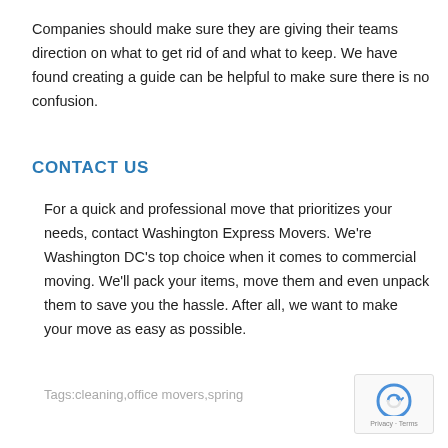Companies should make sure they are giving their teams direction on what to get rid of and what to keep. We have found creating a guide can be helpful to make sure there is no confusion.
CONTACT US
For a quick and professional move that prioritizes your needs, contact Washington Express Movers. We're Washington DC's top choice when it comes to commercial moving. We'll pack your items, move them and even unpack them to save you the hassle. After all, we want to make your move as easy as possible.
Tags:cleaning,office movers,spring